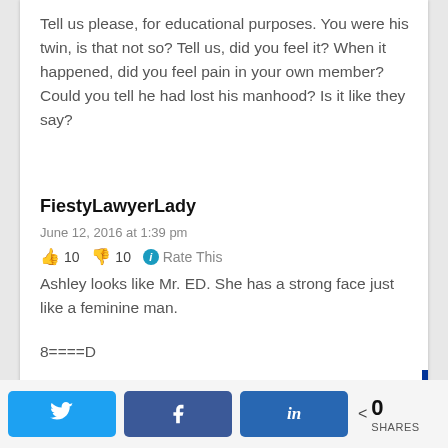Tell us please, for educational purposes. You were his twin, is that not so? Tell us, did you feel it? When it happened, did you feel pain in your own member? Could you tell he had lost his manhood? Is it like they say?
FiestyLawyerLady
June 12, 2016 at 1:39 pm
👍 10 👎 10 ℹ Rate This
Ashley looks like Mr. ED. She has a strong face just like a feminine man.
8====D
Twitter Facebook LinkedIn < 0 SHARES